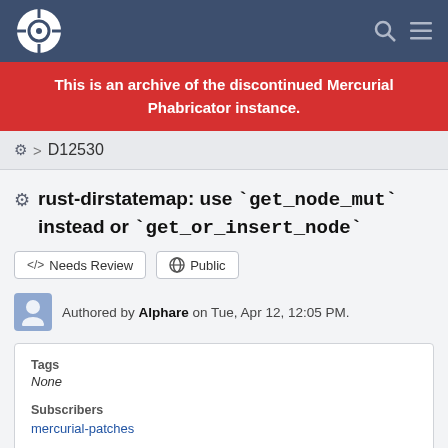Navigation bar with logo, search, and menu icons
This is an archive of the discontinued Mercurial Phabricator instance.
⚙ > D12530
rust-dirstatemap: use `get_node_mut` instead or `get_or_insert_node`
</> Needs Review   🌐 Public
Authored by Alphare on Tue, Apr 12, 12:05 PM.
| Tags | None |
| Subscribers | mercurial-patches |
Details